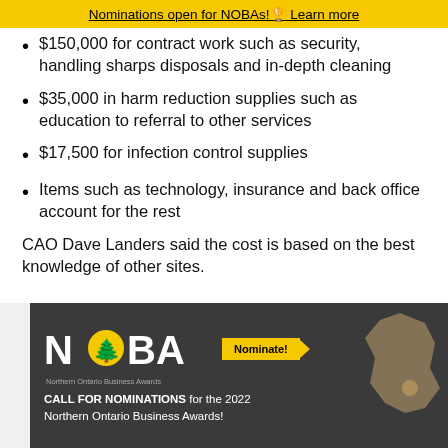Nominations open for NOBAs!🏆 Learn more
$150,000 for contract work such as security, handling sharps disposals and in-depth cleaning
$35,000 in harm reduction supplies such as education to referral to other services
$17,500 for infection control supplies
Items such as technology, insurance and back office account for the rest
CAO Dave Landers said the cost is based on the best knowledge of other sites.
[Figure (screenshot): NOBA (Northern Ontario Business Awards) advertisement banner with dark background, NOBA logo, Nominate! button, and text: CALL FOR NOMINATIONS for the 2022 Northern Ontario Business Awards!]